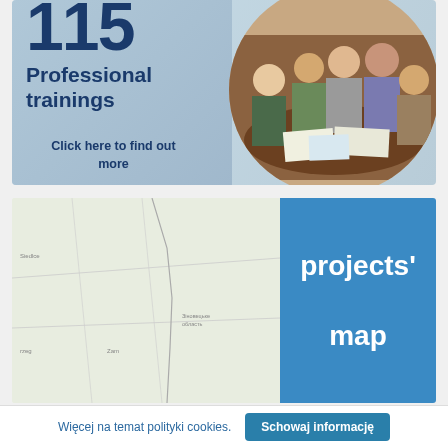[Figure (photo): Banner with large number (115), 'Professional trainings' text, 'Click here to find out more' link, and circular photo of people working around a table]
[Figure (map): Map of Poland region with many blue location pin markers scattered across the area]
projects' map
Więcej na temat polityki cookies.
Schowaj informację